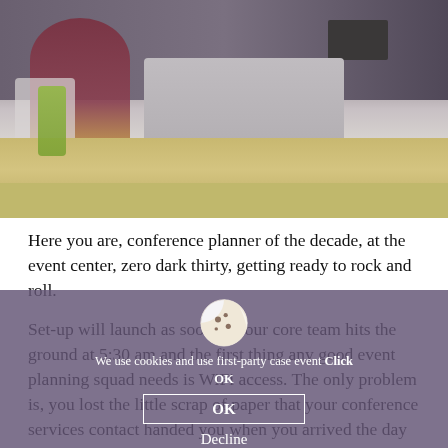[Figure (photo): Person sitting at a desk with a laptop in an office or conference room setting, viewed from the side. A desk with a wood edge is visible, along with chairs and background office equipment.]
Here you are, conference planner of the decade, at the event center, zero dark thirty, getting ready to rock and roll.
Set-up will launch as soon as your core team hits the ground at 5:30 am and the first thing any good event planning squad needs is WiFi access. The only problem is, you lost the little scrap of paper that your conference services contact handed you when you arrived the day before. WTF. You can't figure out where in the hell you stuck that thing. It is not in your binder, it is not in your laptop bag, and you really don't want to text for the
We use cookies and use first-party case event Click OK